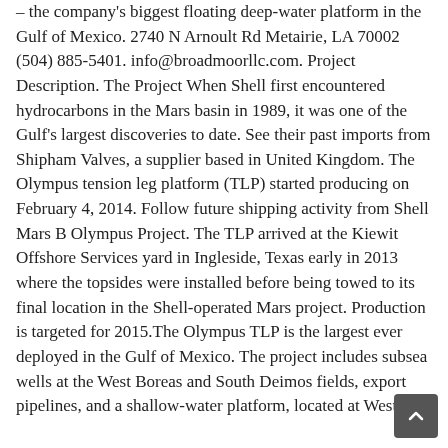– the company's biggest floating deep-water platform in the Gulf of Mexico. 2740 N Arnoult Rd Metairie, LA 70002 (504) 885-5401. info@broadmoorllc.com. Project Description. The Project When Shell first encountered hydrocarbons in the Mars basin in 1989, it was one of the Gulf's largest discoveries to date. See their past imports from Shipham Valves, a supplier based in United Kingdom. The Olympus tension leg platform (TLP) started producing on February 4, 2014. Follow future shipping activity from Shell Mars B Olympus Project. The TLP arrived at the Kiewit Offshore Services yard in Ingleside, Texas early in 2013 where the topsides were installed before being towed to its final location in the Shell-operated Mars project. Production is targeted for 2015.The Olympus TLP is the largest ever deployed in the Gulf of Mexico. The project includes subsea wells at the West Boreas and South Deimos fields, export pipelines, and a shallow-water platform, located at West